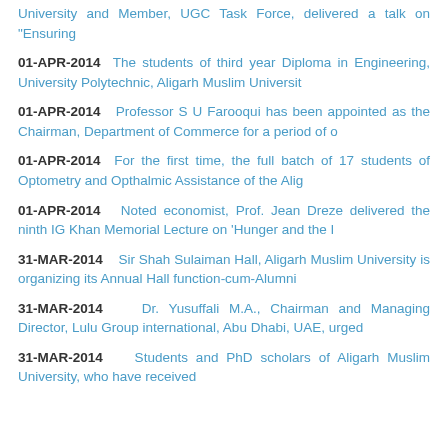University and Member, UGC Task Force, delivered a talk on "Ensuring
01-APR-2014  The students of third year Diploma in Engineering, University Polytechnic, Aligarh Muslim Universit
01-APR-2014  Professor S U Farooqui has been appointed as the Chairman, Department of Commerce for a period of o
01-APR-2014  For the first time, the full batch of 17 students of Optometry and Opthalmic Assistance of the Alig
01-APR-2014  Noted economist, Prof. Jean Dreze delivered the ninth IG Khan Memorial Lecture on 'Hunger and the I
31-MAR-2014  Sir Shah Sulaiman Hall, Aligarh Muslim University is organizing its Annual Hall function-cum-Alumni
31-MAR-2014  Dr. Yusuffali M.A., Chairman and Managing Director, Lulu Group international, Abu Dhabi, UAE, urged
31-MAR-2014  Students and PhD scholars of Aligarh Muslim University, who have received